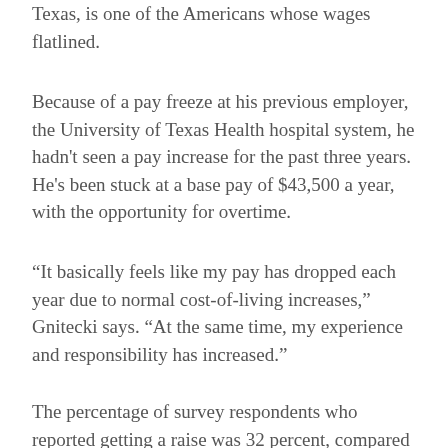Texas, is one of the Americans whose wages flatlined.
Because of a pay freeze at his previous employer, the University of Texas Health hospital system, he hadn't seen a pay increase for the past three years. He's been stuck at a base pay of $43,500 a year, with the opportunity for overtime.
“It basically feels like my pay has dropped each year due to normal cost-of-living increases,” Gnitecki says. “At the same time, my experience and responsibility has increased.”
The percentage of survey respondents who reported getting a raise was 32 percent, compared